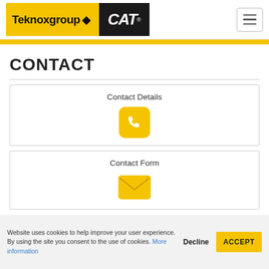[Figure (logo): Teknoxgroup and CAT logo in header]
CONTACT
Contact Details
[Figure (illustration): Yellow phone icon in rounded square]
Contact Form
[Figure (illustration): Yellow envelope/mail icon]
Website uses cookies to help improve your user experience. By using the site you consent to the use of cookies. More information